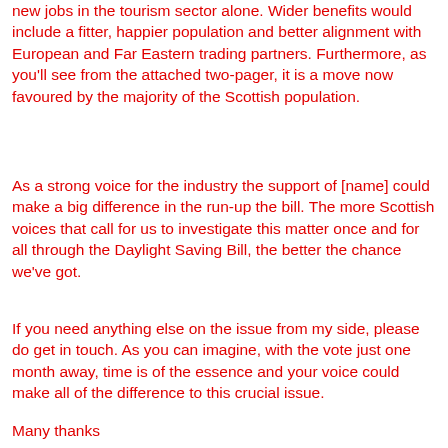new jobs in the tourism sector alone. Wider benefits would include a fitter, happier population and better alignment with European and Far Eastern trading partners. Furthermore, as you'll see from the attached two-pager, it is a move now favoured by the majority of the Scottish population.
As a strong voice for the industry the support of [name] could make a big difference in the run-up the bill. The more Scottish voices that call for us to investigate this matter once and for all through the Daylight Saving Bill, the better the chance we've got.
If you need anything else on the issue from my side, please do get in touch. As you can imagine, with the vote just one month away, time is of the essence and your voice could make all of the difference to this crucial issue.
Many thanks